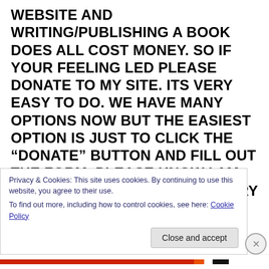WEBSITE AND WRITING/PUBLISHING A BOOK DOES ALL COST MONEY. SO IF YOUR FEELING LED PLEASE DONATE TO MY SITE. ITS VERY EASY TO DO. WE HAVE MANY OPTIONS NOW BUT THE EASIEST OPTION IS JUST TO CLICK THE “DONATE” BUTTON AND FILL OUT THE FORM. PLEASE KNOW I AM GRATEFUL FOR EACH AND EVERY DONATION THAT COMES IN NO MATTER IF ITS THROUGH THE PATREON PAGE, PO BOX OR PAYPAL. GOD BLESS, I LOVE YOU ALL AND MORE IMPORTANTLY JESUS LOVES YOU. KEEP ON SHINING FOR CHRIST ❤
Privacy & Cookies: This site uses cookies. By continuing to use this website, you agree to their use.
To find out more, including how to control cookies, see here: Cookie Policy
Close and accept